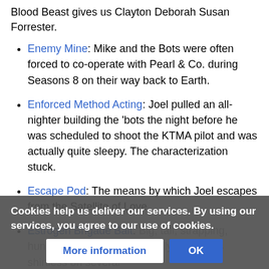Blood Beast gives us Clayton Deborah Susan Forrester.
Enemy Mine: Mike and the Bots were often forced to co-operate with Pearl & Co. during Seasons 8 on their way back to Earth.
Enforced Method Acting: Joel pulled an all-nighter building the 'bots the night before he was scheduled to shoot the KTMA pilot and was actually quite sleepy. The characterization stuck.
Escape Pod: The means by which Joel escapes from the Satellite of Love.
Estrogen Brigade Bait: Big, tall, strapping, hunky Mike Nelson, especially when he's shirtless on several occasions.
Not to mention the dreamy Joel Robinson! He's had quite a following by now.
Cookies help us deliver our services. By using our services, you agree to our use of cookies.